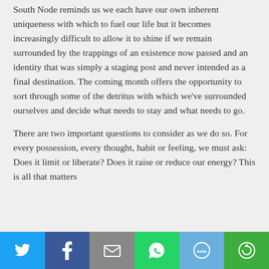South Node reminds us we each have our own inherent uniqueness with which to fuel our life but it becomes increasingly difficult to allow it to shine if we remain surrounded by the trappings of an existence now passed and an identity that was simply a staging post and never intended as a final destination. The coming month offers the opportunity to sort through some of the detritus with which we've surrounded ourselves and decide what needs to stay and what needs to go.
There are two important questions to consider as we do so. For every possession, every thought, habit or feeling, we must ask: Does it limit or liberate? Does it raise or reduce our energy? This is all that matters
[Figure (infographic): Social media share bar with six buttons: Twitter (blue bird icon), Facebook (dark blue f icon), Email (grey envelope icon), WhatsApp (green phone icon), SMS (light blue sms icon), More/share (green circular arrow icon)]